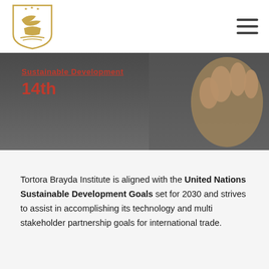Tortora Brayda Institute logo and navigation
[Figure (photo): Dark background hero image with a hand, overlaid with red text showing a partially visible heading and '14th']
Tortora Brayda Institute is aligned with the United Nations Sustainable Development Goals set for 2030 and strives to assist in accomplishing its technology and multi stakeholder partnership goals for international trade.